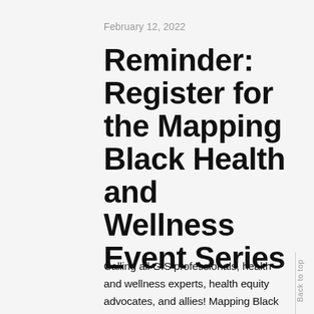February 12, 2022
Reminder: Register for the Mapping Black Health and Wellness Event Series
Calling all GIS professionals, health and wellness experts, health equity advocates, and allies! Mapping Black Health and Wellness is a